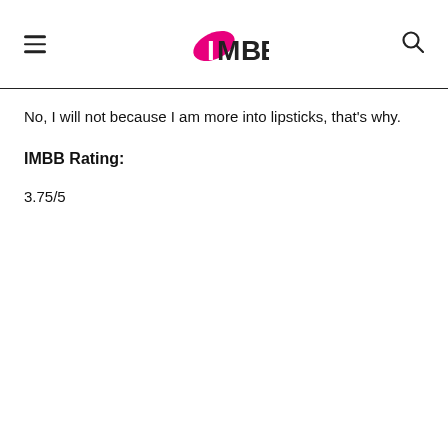IMBB
No, I will not because I am more into lipsticks, that's why.
IMBB Rating:
3.75/5